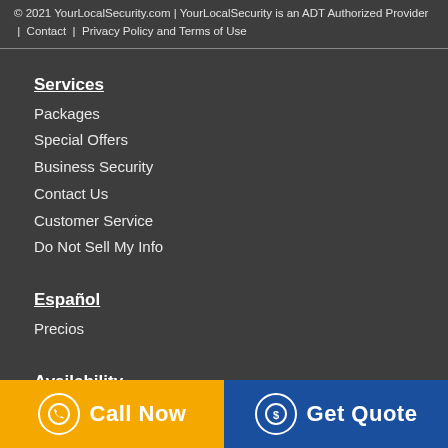© 2021 YourLocalSecurity.com | YourLocalSecurity is an ADT Authorized Provider | Contact | Privacy Policy and Terms of Use
Services
Packages
Special Offers
Business Security
Contact Us
Customer Service
Do Not Sell My Info
Español
Precios
Availability
Learn More
Call Now
Get Quote